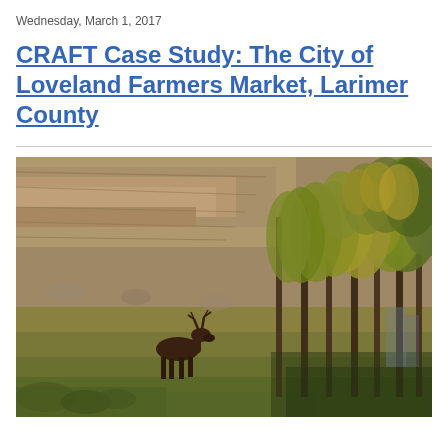Wednesday, March 1, 2017
CRAFT Case Study: The City of Loveland Farmers Market, Larimer County
[Figure (photo): Outdoor landscape photo showing a moose standing in a grassy field with tall autumn-colored trees (yellows, greens, oranges) and rocky terrain in the background. The scene appears to be in Colorado or a similar Western landscape.]